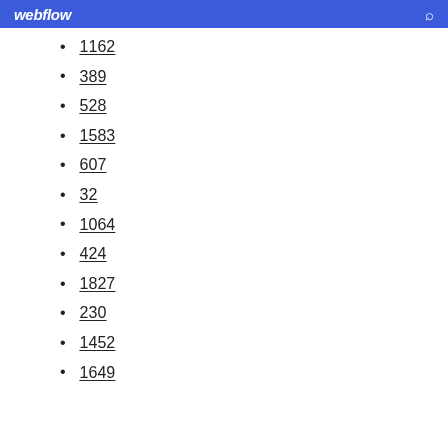webflow
1162
389
528
1583
607
32
1064
424
1827
230
1452
1649